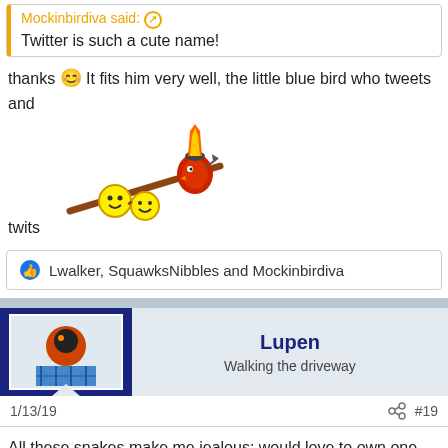Mockinbirdiva said: ↗
Twitter is such a cute name!
thanks 😊 It fits him very well, the little blue bird who tweets and twits [emoji sticker]
👍 Lwalker, SquawksNibbles and Mockinbirdiva
Lupen
Walking the driveway
1/13/19
#19
All these snakes make me jealous; would love to own one (or more) one day but unable to atm. 🙁 Still living with my mother and she adamantly refuses ... even though I'd be the one handling/taking care of it, can't convince her to like the noodles.